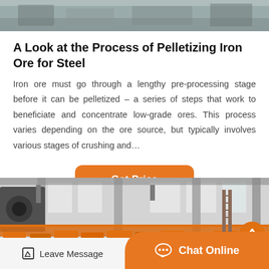[Figure (photo): Top portion of industrial/factory equipment, grayscale image cropped at top of page]
A Look at the Process of Pelletizing Iron Ore for Steel
Iron ore must go through a lengthy pre-processing stage before it can be pelletized – a series of steps that work to beneficiate and concentrate low-grade ores. This process varies depending on the ore source, but typically involves various stages of crushing and…
Get Price
[Figure (photo): Industrial factory interior with large machinery, orange conveyor equipment, columns, and overhead cranes in grayscale and orange tones]
Leave Message
Chat Online